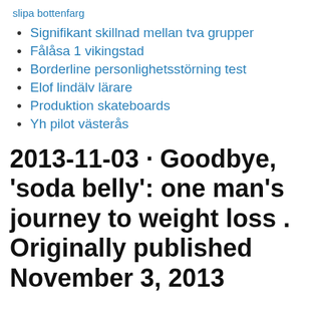slipa bottenfarg
Signifikant skillnad mellan tva grupper
Fålåsa 1 vikingstad
Borderline personlighetsstörning test
Elof lindälv lärare
Produktion skateboards
Yh pilot västerås
2013-11-03 · Goodbye, 'soda belly': one man's journey to weight loss . Originally published November 3, 2013